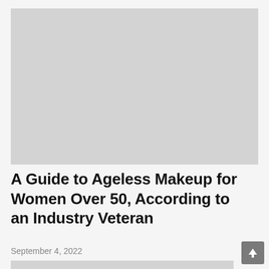[Figure (photo): Large image placeholder, light gray, at the top of the page]
A Guide to Ageless Makeup for Women Over 50, According to an Industry Veteran
September 4, 2022
[Figure (photo): Partial image placeholder at the bottom of the page, light gray]